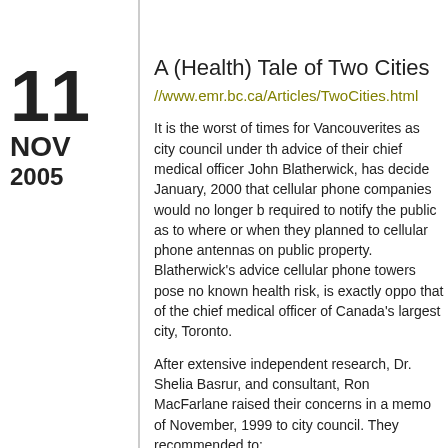11 NOV 2005
A (Health) Tale of Two Cities
//www.emr.bc.ca/Articles/TwoCities.html
It is the worst of times for Vancouverites as city council under the advice of their chief medical officer John Blatherwick, has decided in January, 2000 that cellular phone companies would no longer be required to notify the public as to where or when they planned to put cellular phone antennas on public property. Blatherwick's advice that cellular phone towers pose no known health risk, is exactly opposite to that of the chief medical officer of Canada's largest city, Toronto.
After extensive independent research, Dr. Shelia Basrur, and consultant, Ron MacFarlane raised their concerns in a memo of November, 1999 to city council. They recommended to:
1. Practice prudent avoidance - site towers at least 200 meters from schools and day-cares.
2. Reduce radiation emissions by 100 times below current limits.
3. Notify residents of new or changed installations, allowing citizens to be an integral part of the process.
Until now, federal government regulations have allowed cell phone companies to locate antennae any where they want, as long as the company notified residents living within 100 meters of the base station.